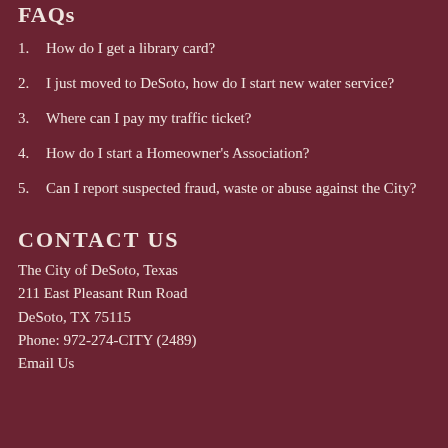FAQs
1. How do I get a library card?
2. I just moved to DeSoto, how do I start new water service?
3. Where can I pay my traffic ticket?
4. How do I start a Homeowner's Association?
5. Can I report suspected fraud, waste or abuse against the City?
CONTACT US
The City of DeSoto, Texas
211 East Pleasant Run Road
DeSoto, TX 75115
Phone: 972-274-CITY (2489)
Email Us